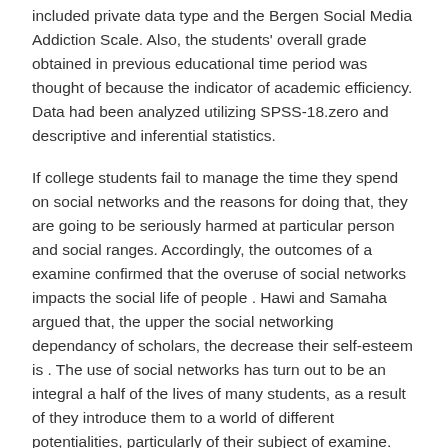included private data type and the Bergen Social Media Addiction Scale. Also, the students' overall grade obtained in previous educational time period was thought of because the indicator of academic efficiency. Data had been analyzed utilizing SPSS-18.zero and descriptive and inferential statistics.
If college students fail to manage the time they spend on social networks and the reasons for doing that, they are going to be seriously harmed at particular person and social ranges. Accordingly, the outcomes of a examine confirmed that the overuse of social networks impacts the social life of people . Hawi and Samaha argued that, the upper the social networking dependancy of scholars, the decrease their self-esteem is . The use of social networks has turn out to be an integral a half of the lives of many students, as a result of they introduce them to a world of different potentialities, particularly of their subject of examine.